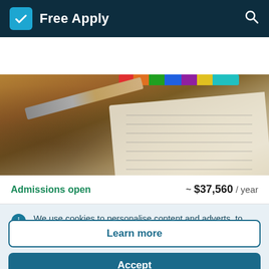Free Apply
[Figure (photo): A hand writing on paper at a desk with crayons/markers in the background, warm golden lighting.]
Admissions open   ~ $37,560 / year
We use cookies to personalise content and adverts, to provide social media and to analyse traffic.
Learn more
Accept